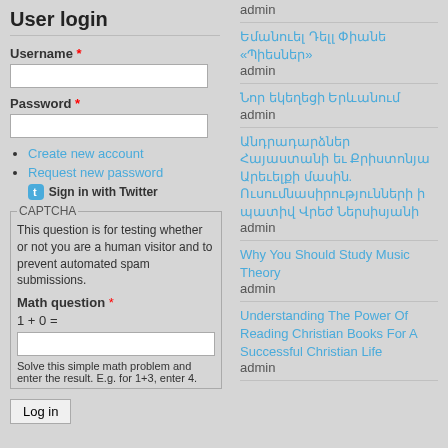User login
Username *
Password *
Create new account
Request new password
Sign in with Twitter
CAPTCHA - This question is for testing whether or not you are a human visitor and to prevent automated spam submissions. Math question * 1 + 0 = Solve this simple math problem and enter the result. E.g. for 1+3, enter 4.
Log in
admin
Եմանուել Դելլ Փիանե «Պիեսներ»
admin
Նոր եկեղեցի Երևանում
admin
Անդրադարձներ Հայաստանի եւ Քրիստոնյա Արեւելքի մասին. Ուսումնասիրություններիի պատիվ Վրեժ Ներսիսյանի
admin
Why You Should Study Music Theory
admin
Understanding The Power Of Reading Christian Books For A Successful Christian Life
admin